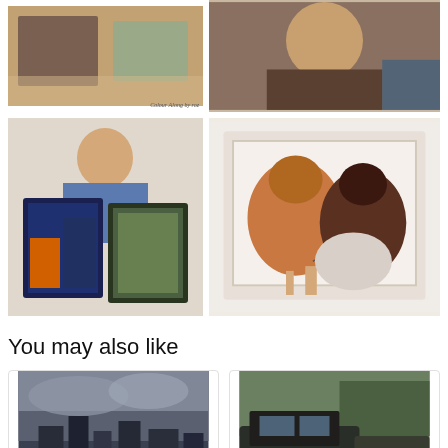[Figure (photo): Top left: painting/art image with caption 'Colour Along by roz']
Colour Along by roz
[Figure (photo): Top right: photo of a person]
[Figure (photo): Middle left: woman holding two framed paintings]
[Figure (photo): Middle right: painting of two dachshund dogs being worked on]
You may also like
[Figure (photo): Bottom left card: cityscape with stormy sky]
[Figure (photo): Bottom right card: car/truck scene with green background]